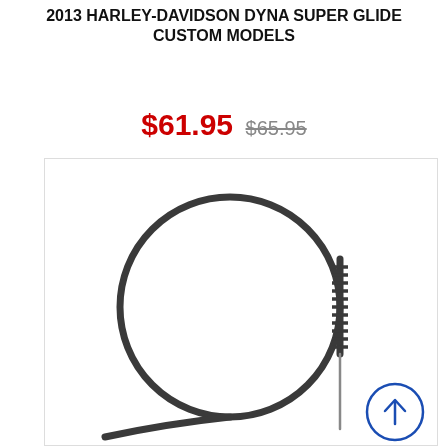2013 HARLEY-DAVIDSON DYNA SUPER GLIDE CUSTOM MODELS
$61.95  $65.95
[Figure (photo): A coiled clutch cable for 2013 Harley-Davidson Dyna Super Glide Custom Models, shown coiled in a circle with a spiral-wound end fitting on the right side. A circular blue arrow icon appears in the bottom right corner.]